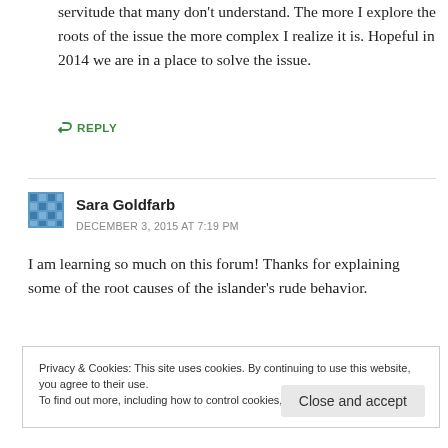servitude that many don't understand. The more I explore the roots of the issue the more complex I realize it is. Hopeful in 2014 we are in a place to solve the issue.
↪ REPLY
Sara Goldfarb
DECEMBER 3, 2015 AT 7:19 PM
I am learning so much on this forum! Thanks for explaining some of the root causes of the islander's rude behavior.
Privacy & Cookies: This site uses cookies. By continuing to use this website, you agree to their use.
To find out more, including how to control cookies, see here: Cookie Policy
Close and accept
...effective at suppressing opinions and...it is claiming...